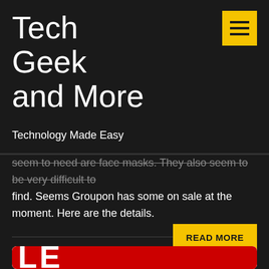Tech Geek and More
Technology Made Easy
seem to need are face masks. They also seem to be very difficult to find.  Seems Groupon has some on sale at the moment. Here are the details.
READ MORE
[Figure (photo): A red SALE sign tilted at an angle on a white background, partially cropped at the bottom of the page showing large white letters on red background.]